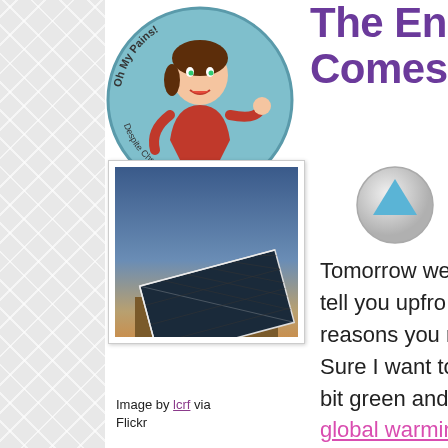[Figure (logo): Circular blog logo with cartoon woman in red top, text reading 'Oh My Pains! Despite Chronic Illness' around the edge]
The Energy o... Comes to My Roo...
[Figure (other): Up arrow button icon - grey circular button with blue upward arrow]
[Figure (photo): Photo of a solar panel on a rooftop against a blue sky at dusk]
Image by lcrf via Flickr
Tomorrow we tell you upfro... reasons you m... Sure I want to bit green and h... global warmin... consider myse... hippie or envi...